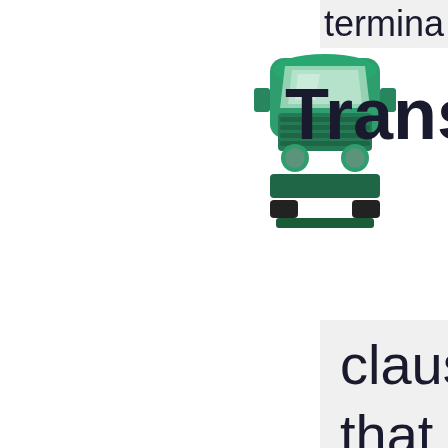termina
[Figure (illustration): Green semi-truck icon viewed from the front]
Transp
clauses that expressly or